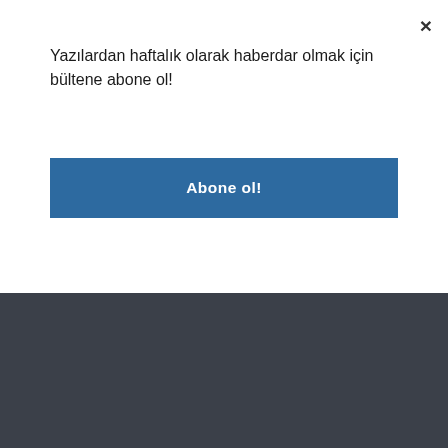Yazılardan haftalık olarak haberdar olmak için bültene abone ol!
Abone ol!
×
Contact
Ad & Collaboration
About Me
FAQ
TOP ^
© Copyright Melke On The Road - TÜM HAKLARI SAKLIDIR!
Leaving corporate life
Vegan life
Nature Friendly Life